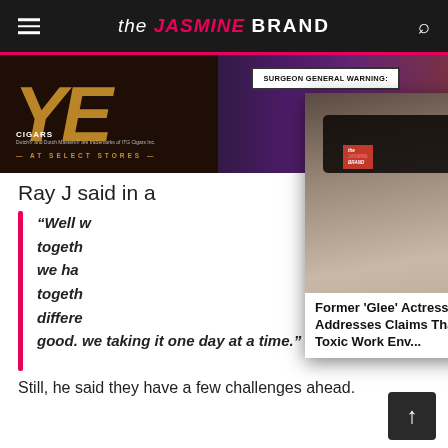the JASMINE BRAND
[Figure (photo): Advertisement banner with stylized YZ logo in gold on dark background, with 'AT SELECT STORES' text. A Surgeon General Warning panel visible. CIGARS - Dutch and Dutch Masters trademarks of ITG Cigars Inc. text visible.]
Ray J said in a
"Well w... togeth... we ha... togeth... differe... good. we taking it one day at a time."
[Figure (photo): Pop-up overlay showing a woman wearing dark oversized sunglasses with brown hair, in an urban setting. The Jasmine Brand logo badge visible. A second smaller image visible below. Caption reads: Former 'Glee' Actress Lea Michele Addresses Claims That She Created A Toxic Work Env...]
Former 'Glee' Actress Lea Michele Addresses Claims That She Created A Toxic Work Env...
Still, he said they have a few challenges ahead.